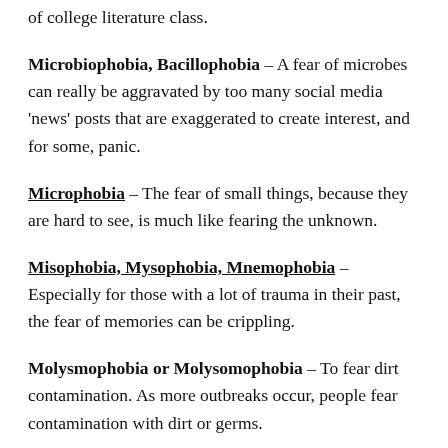of college literature class.
Microbiophobia, Bacillophobia – A fear of microbes can really be aggravated by too many social media 'news' posts that are exaggerated to create interest, and for some, panic.
Microphobia – The fear of small things, because they are hard to see, is much like fearing the unknown.
Misophobia, Mysophobia, Mnemophobia – Especially for those with a lot of trauma in their past, the fear of memories can be crippling.
Molysmophobia or Molysomophobia – To fear dirt contamination. As more outbreaks occur, people fear contamination with dirt or germs.